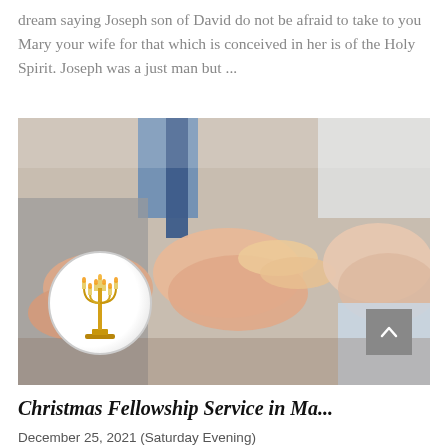dream saying Joseph son of David do not be afraid to take to you Mary your wife for that which is conceived in her is of the Holy Spirit. Joseph was a just man but ...
[Figure (photo): People clapping hands, with a circular menorah logo overlay in the lower left corner. A gray scroll-to-top button is visible in the lower right of the image.]
Christmas Fellowship Service in Ma...
December 25, 2021 (Saturday Evening)